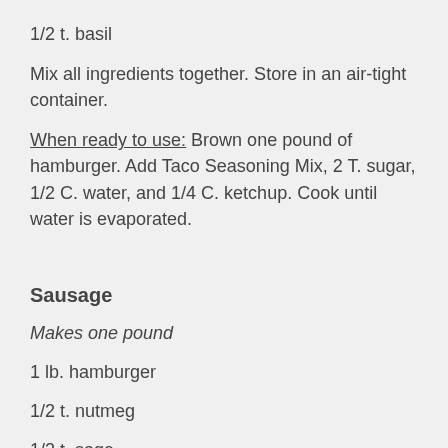1/2 t. basil
Mix all ingredients together. Store in an air-tight container.
When ready to use: Brown one pound of hamburger. Add Taco Seasoning Mix, 2 T. sugar, 1/2 C. water, and 1/4 C. ketchup. Cook until water is evaporated.
Sausage
Makes one pound
1 lb. hamburger
1/2 t. nutmeg
1/2 t. sage